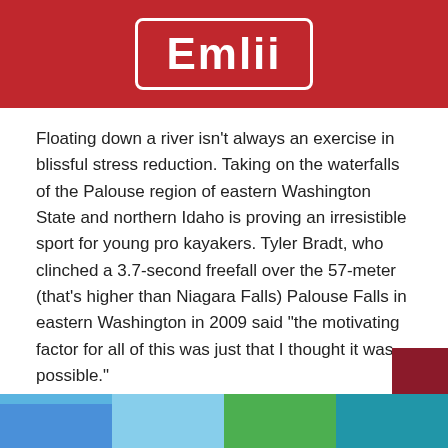Emlii
Floating down a river isn't always an exercise in blissful stress reduction. Taking on the waterfalls of the Palouse region of eastern Washington State and northern Idaho is proving an irresistible sport for young pro kayakers. Tyler Bradt, who clinched a 3.7-second freefall over the 57-meter (that's higher than Niagara Falls) Palouse Falls in eastern Washington in 2009 said “the motivating factor for all of this was just that I thought it was possible.”
13. Volcano Boarding (Nicaragua)